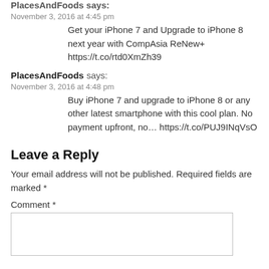PlacesAndFoods says:
November 3, 2016 at 4:45 pm
Get your iPhone 7 and Upgrade to iPhone 8 next year with CompAsia ReNew+ https://t.co/rtd0XmZh39
PlacesAndFoods says:
November 3, 2016 at 4:48 pm
Buy iPhone 7 and upgrade to iPhone 8 or any other latest smartphone with this cool plan. No payment upfront, no… https://t.co/PUJ9INqVsO
Leave a Reply
Your email address will not be published. Required fields are marked *
Comment *